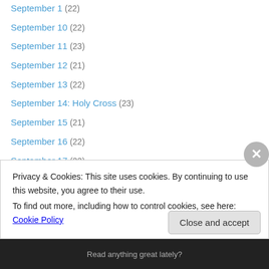September 1 (22)
September 10 (22)
September 11 (23)
September 12 (21)
September 13 (22)
September 14: Holy Cross (23)
September 15 (21)
September 16 (22)
September 17 (22)
September 18 (23)
September 19 (21)
September 2 (21)
September 20 (23)
September 21 (21)
Privacy & Cookies: This site uses cookies. By continuing to use this website, you agree to their use. To find out more, including how to control cookies, see here: Cookie Policy
Close and accept
Read anything great lately?